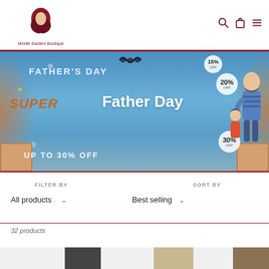[Figure (logo): Middle Eastern Boutique logo - woman in hijab illustration with text below]
[Figure (illustration): Father's Day sale banner with text 'FATHER'S DAY SUPER SALE UP TO 30% OFF' and discount badges 15% OFF, 20% OFF, 30% OFF, animated father/son illustration]
Father Day
FILTER BY
All products
SORT BY
Best selling
32 products